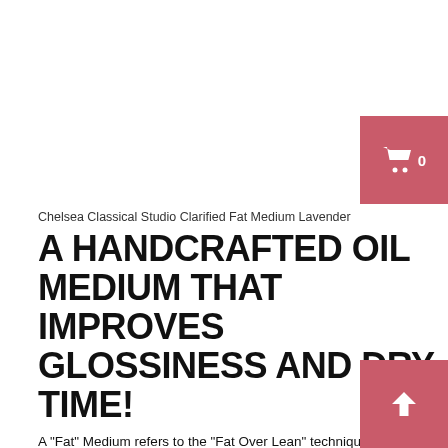[Figure (other): Shopping cart button with count 0, pink/red background, top right corner]
Chelsea Classical Studio Clarified Fat Medium Lavender
A HANDCRAFTED OIL MEDIUM THAT IMPROVES GLOSSINESS AND DRY TIME!
A "Fat" Medium refers to the "Fat Over Lean" technique, which means to apply a paint layer rich in oil (a fat) over a layer with less oil (a lean) layer on a painting. This simple principle is fundamental to controlling the paint adhesion, drying time and glossiness of oil colors. The Clarified Fat Medium, by Chelsea Classical Studios, is a handmade oil medium that decreases drying time and increases glossiness. It is crafted from a mixture of pure, extra-pale, cold pressed linseed oil and lavender damar varnish. For Chelsea Classical Mediums, even the ingredients of their
[Figure (other): Scroll to top button with up arrow, pink/red background, bottom right corner]